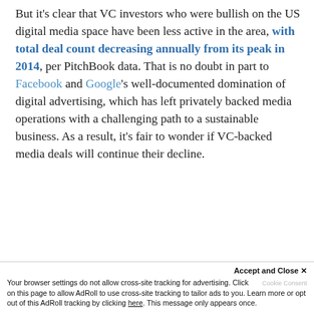But it's clear that VC investors who were bullish on the US digital media space have been less active in the area, with total deal count decreasing annually from its peak in 2014, per PitchBook data. That is no doubt in part to Facebook and Google's well-documented domination of digital advertising, which has left privately backed media operations with a challenging path to a sustainable business. As a result, it's fair to wonder if VC-backed media deals will continue their decline.
Accept and Close ×  Your browser settings do not allow cross-site tracking for advertising. Click on this page to allow AdRoll to use cross-site tracking to tailor ads to you. Learn more or opt out of this AdRoll tracking by clicking here. This message only appears once.